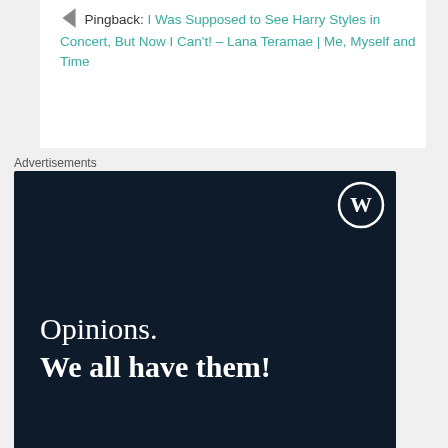Pingback: I Was Supposed to See Harry Styles in Concert, But Now I Can't! – Lana Teramae | Me, Myself and Time
Advertisements
[Figure (screenshot): WordPress/CrowdSignal advertisement with dark navy background. Text reads 'Opinions. We all have them!' with a pink 'Start a survey' button and CrowdSignal logo.]
Advertisements
[Figure (screenshot): DuckDuckGo advertisement. Orange background on left with text 'Search, browse, and email with more privacy. All in One Free App'. Dark right panel with DuckDuckGo duck logo.]